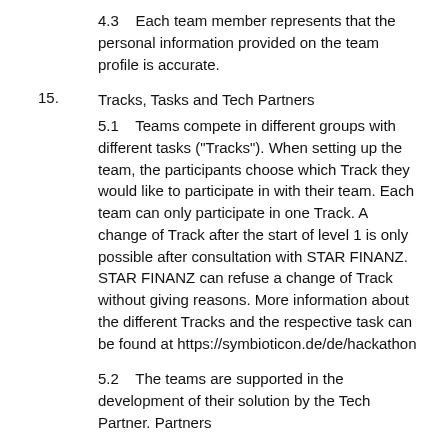4.3    Each team member represents that the personal information provided on the team profile is accurate.
15.    Tracks, Tasks and Tech Partners
5.1    Teams compete in different groups with different tasks ("Tracks"). When setting up the team, the participants choose which Track they would like to participate in with their team. Each team can only participate in one Track. A change of Track after the start of level 1 is only possible after consultation with STAR FINANZ. STAR FINANZ can refuse a change of Track without giving reasons. More information about the different Tracks and the respective task can be found at https://symbioticon.de/de/hackathon
5.2    The teams are supported in the development of their solution by the Tech Partner. Partners...